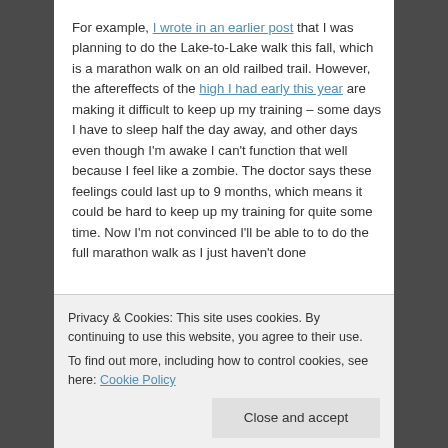For example, I wrote in an earlier post that I was planning to do the Lake-to-Lake walk this fall, which is a marathon walk on an old railbed trail. However, the aftereffects of the high I had early this year are making it difficult to keep up my training – some days I have to sleep half the day away, and other days even though I'm awake I can't function that well because I feel like a zombie. The doctor says these feelings could last up to 9 months, which means it could be hard to keep up my training for quite some time. Now I'm not convinced I'll be able to do the full marathon walk as I just haven't done
Privacy & Cookies: This site uses cookies. By continuing to use this website, you agree to their use. To find out more, including how to control cookies, see here: Cookie Policy
Close and accept
cycling), what the problem was (recovering from a